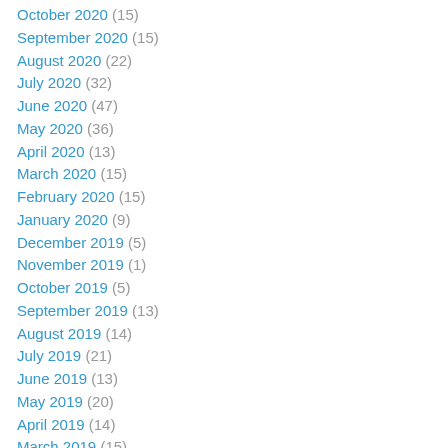October 2020 (15)
September 2020 (15)
August 2020 (22)
July 2020 (32)
June 2020 (47)
May 2020 (36)
April 2020 (13)
March 2020 (15)
February 2020 (15)
January 2020 (9)
December 2019 (5)
November 2019 (1)
October 2019 (5)
September 2019 (13)
August 2019 (14)
July 2019 (21)
June 2019 (13)
May 2019 (20)
April 2019 (14)
March 2019 (15)